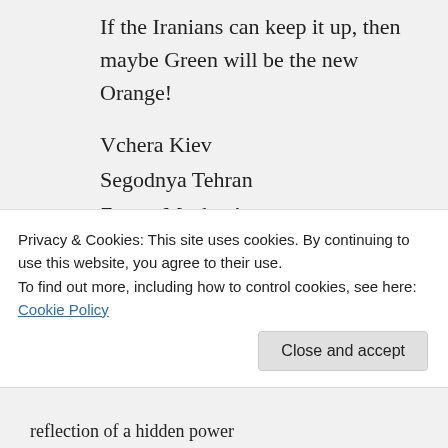If the Iranians can keep it up, then maybe Green will be the new Orange!
Vchera Kiev
Segodnya Tehran
Zavtra Moskva!
↳ Reply
ditt0head on June 24, 2009 at 8:12 am
Privacy & Cookies: This site uses cookies. By continuing to use this website, you agree to their use.
To find out more, including how to control cookies, see here: Cookie Policy
Close and accept
reflection of a hidden power